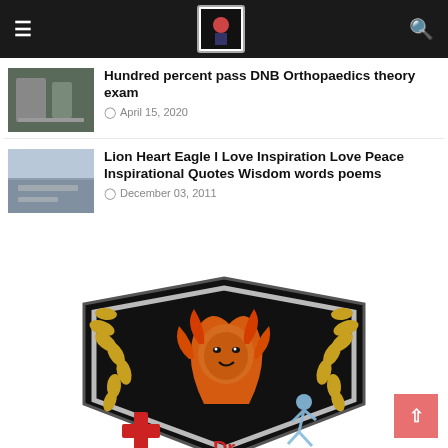Navigation bar with hamburger menu, logo, and search icon
Hundred percent pass DNB Orthopaedics theory exam
April 15, 2020
Lion Heart Eagle I Love Inspiration Love Peace Inspirational Quotes Wisdom words poems
December 03, 2011
[Figure (logo): Shield emblem with fiery lion, golden laurel wreaths, red cross, and blue running figure on black background]